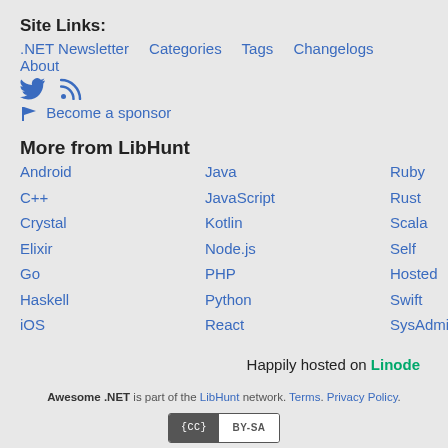Site Links:
.NET Newsletter   Categories   Tags   Changelogs   About
[Twitter icon] [RSS icon]
[Flag icon] Become a sponsor
More from LibHunt
Android
Java
Ruby
C++
JavaScript
Rust
Crystal
Kotlin
Scala
Elixir
Node.js
Self Hosted
Go
PHP
Swift
Haskell
Python
SysAdmin
iOS
React
Happily hosted on Linode
Awesome .NET is part of the LibHunt network. Terms. Privacy Policy.
[Figure (other): Creative Commons CC BY-SA license badge]